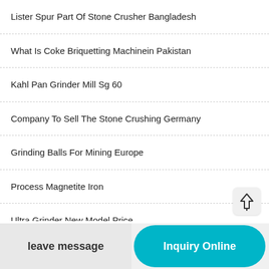Lister Spur Part Of Stone Crusher Bangladesh
What Is Coke Briquetting Machinein Pakistan
Kahl Pan Grinder Mill Sg 60
Company To Sell The Stone Crushing Germany
Grinding Balls For Mining Europe
Process Magnetite Iron
Ultra Grinder New Model Price
leave message
Inquiry Online